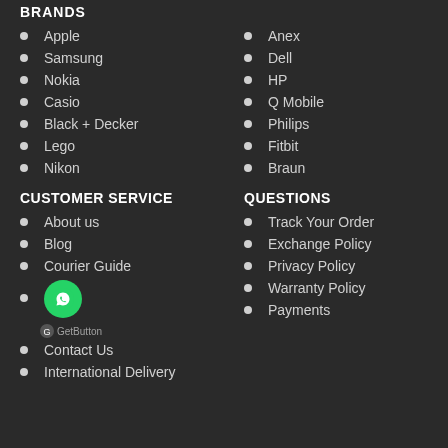BRANDS
Apple
Anex
Samsung
Dell
Nokia
HP
Casio
Q Mobile
Black + Decker
Philips
Lego
Fitbit
Nikon
Braun
CUSTOMER SERVICE
QUESTIONS
About us
Track Your Order
Blog
Exchange Policy
Courier Guide
Privacy Policy
Contact Us
Warranty Policy
Payments
International Delivery